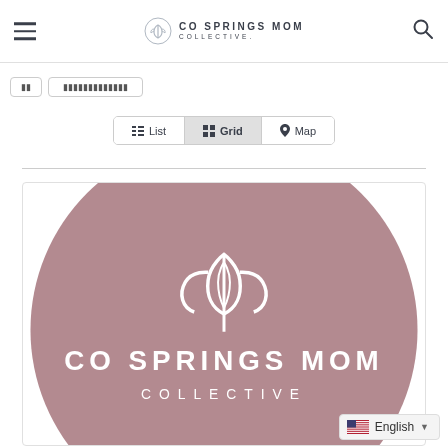CO SPRINGS MOM COLLECTIVE
List | Grid | Map
[Figure (logo): CO Springs Mom Collective circular logo with mauve/dusty rose background, white flower/tulip icon and white text reading CO SPRINGS MOM COLLECTIVE]
English